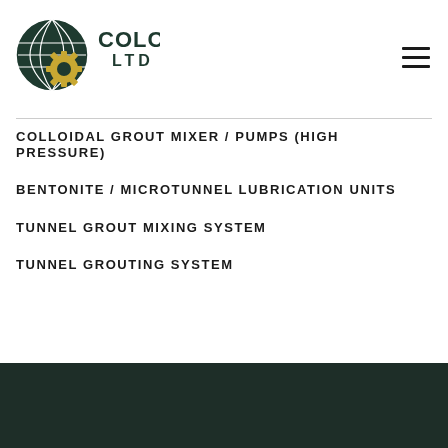[Figure (logo): Colcrete Ltd logo — dark green globe with gold gear, text COLCRETE LTD in dark green]
COLLOIDAL GROUT MIXER / PUMPS (HIGH PRESSURE)
BENTONITE / MICROTUNNEL LUBRICATION UNITS
TUNNEL GROUT MIXING SYSTEM
TUNNEL GROUTING SYSTEM